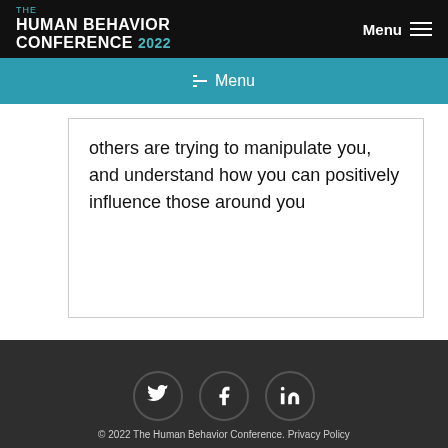THE HUMAN BEHAVIOR CONFERENCE 2022 | Menu
Menu
others are trying to manipulate you, and understand how you can positively influence those around you
[Figure (infographic): Social media icons: Twitter (bird), Facebook (f), LinkedIn (in) in dark circles]
© 2022 The Human Behavior Conference. Privacy Policy